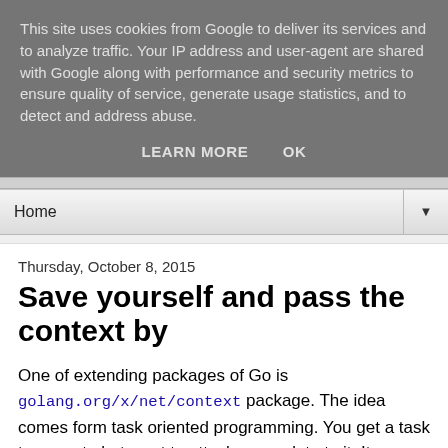This site uses cookies from Google to deliver its services and to analyze traffic. Your IP address and user-agent are shared with Google along with performance and security metrics to ensure quality of service, generate usage statistics, and to detect and address abuse.
LEARN MORE    OK
Home ▼
Thursday, October 8, 2015
Save yourself and pass the context by
One of extending packages of Go is golang.org/x/net/context package. The idea comes form task oriented programming. You get a task to execute but want to attach some data to it. It appears to be useful when programing a RPC or web server solutions. In such cases your listener creates a context object and pass it to handlers.